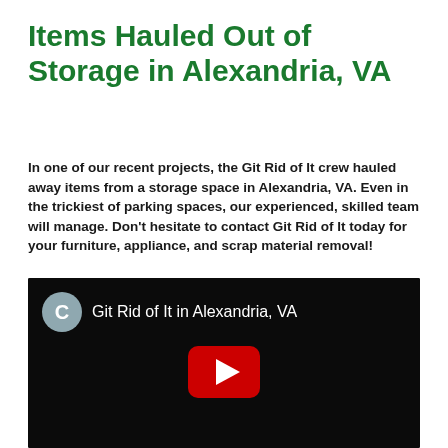Items Hauled Out of Storage in Alexandria, VA
In one of our recent projects, the Git Rid of It crew hauled away items from a storage space in Alexandria, VA. Even in the trickiest of parking spaces, our experienced, skilled team will manage. Don't hesitate to contact Git Rid of It today for your furniture, appliance, and scrap material removal!
[Figure (screenshot): Embedded YouTube video thumbnail showing 'Git Rid of It in Alexandria, VA' with a channel icon labeled C, dark video scene with a play button.]